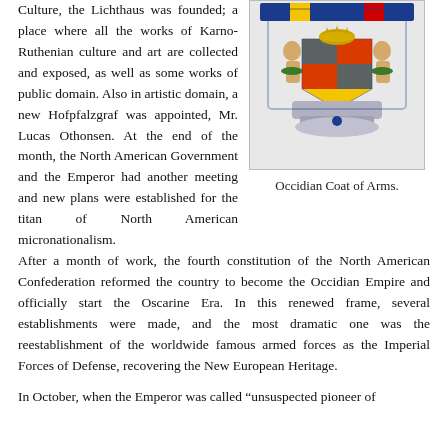Culture, the Lichthaus was founded; a place where all the works of Karno-Ruthenian culture and art are collected and exposed, as well as some works of public domain. Also in artistic domain, a new Hofpfalzgraf was appointed, Mr. Lucas Othonsen. At the end of the month, the North American Government and the Emperor had another meeting and new plans were established for the titan of North American micronationalism.
[Figure (illustration): Occidian Coat of Arms — a heraldic shield with two wild men as supporters, crown on top, flags behind, and an ornate base.]
Occidian Coat of Arms.
After a month of work, the fourth constitution of the North American Confederation reformed the country to become the Occidian Empire and officially start the Oscarine Era. In this renewed frame, several establishments were made, and the most dramatic one was the reestablishment of the worldwide famous armed forces as the Imperial Forces of Defense, recovering the New European Heritage.
In October, when the Emperor was called “unsuspected pioneer of